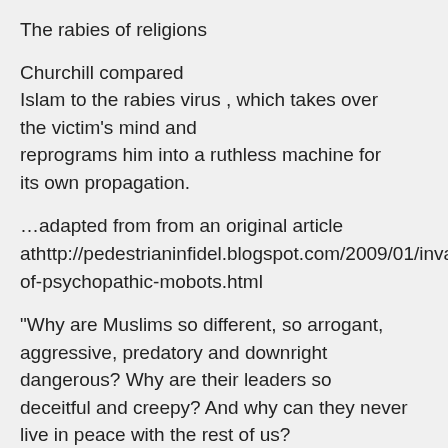The rabies of religions
Churchill compared Islam to the rabies virus , which takes over the victim's mind and reprograms him into a ruthless machine for its own propagation.
…adapted from from an original article athttp://pedestrianinfidel.blogspot.com/2009/01/inva of-psychopathic-mobots.html
"Why are Muslims so different, so arrogant, aggressive, predatory and downright dangerous? Why are their leaders so deceitful and creepy? And why can they never live in peace with the rest of us?
To understand what makes Muslims tick, you